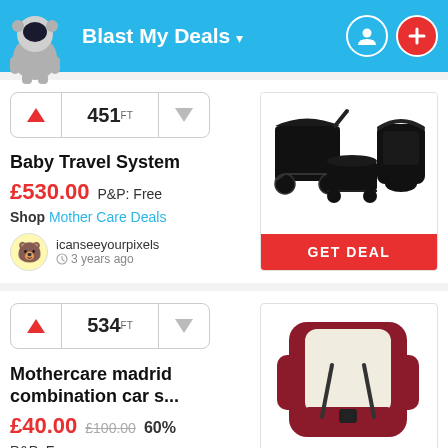Blast My Deals
451 FT — Baby Travel System — £530.00 P&P: Free — Shop Mother Care Deals — icanseeyourpixels — 3 years ago
[Figure (photo): Baby travel system with stroller, carrycot, and car seat in black]
GET DEAL
534 FT — Mothercare madrid combination car s... — £40.00 £100.00 60% — P&P: Free
[Figure (photo): Red and cream baby/child combination car seat]